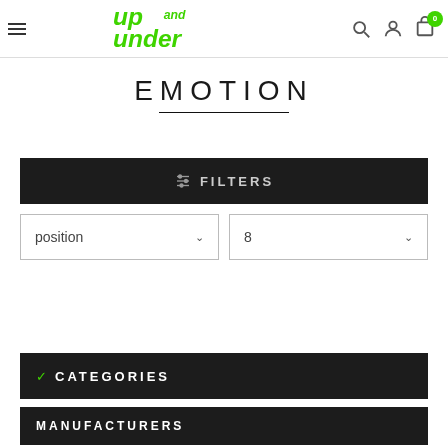[Figure (logo): Up and Under logo in green stylized text]
EMOTION
FILTERS
position
8
CATEGORIES
MANUFACTURERS